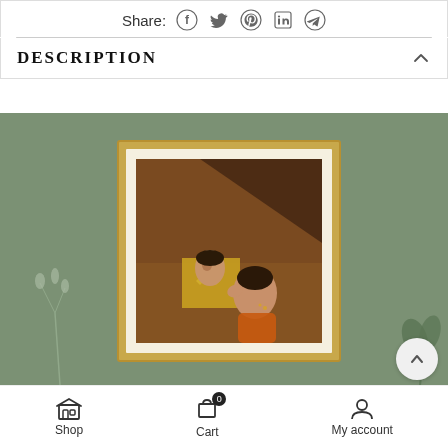Share:
[Figure (screenshot): E-commerce product page screenshot showing share icons (Facebook, Twitter, Pinterest, LinkedIn, Telegram), a DESCRIPTION section header with chevron, and a framed painting on a green wall background showing an Indian classical artwork of two figures, plus a bottom navigation bar with Shop, Cart, and My account icons.]
DESCRIPTION
Shop   Cart   My account